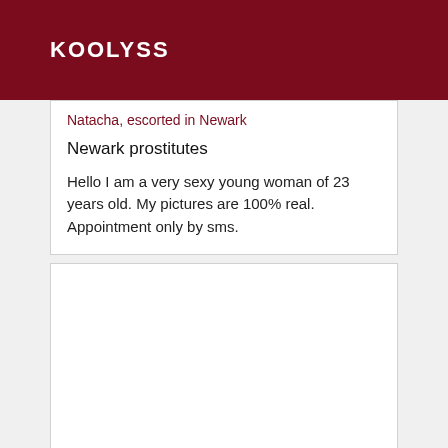KOOLYSS
Natacha, escorted in Newark
Newark prostitutes
Hello I am a very sexy young woman of 23 years old. My pictures are 100% real. Appointment only by sms.
[Figure (other): Empty white card/image placeholder area]